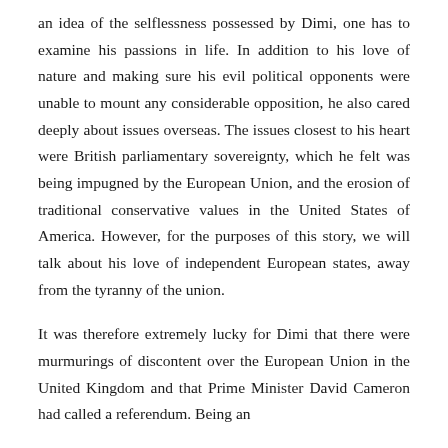an idea of the selflessness possessed by Dimi, one has to examine his passions in life. In addition to his love of nature and making sure his evil political opponents were unable to mount any considerable opposition, he also cared deeply about issues overseas. The issues closest to his heart were British parliamentary sovereignty, which he felt was being impugned by the European Union, and the erosion of traditional conservative values in the United States of America. However, for the purposes of this story, we will talk about his love of independent European states, away from the tyranny of the union.
It was therefore extremely lucky for Dimi that there were murmurings of discontent over the European Union in the United Kingdom and that Prime Minister David Cameron had called a referendum. Being an